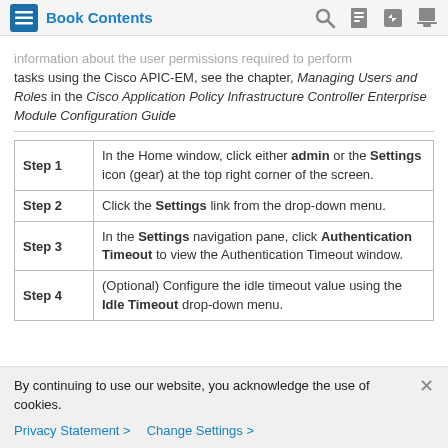Book Contents
information about the user permissions required to perform tasks using the Cisco APIC-EM, see the chapter, Managing Users and Roles in the Cisco Application Policy Infrastructure Controller Enterprise Module Configuration Guide
| Step | Description |
| --- | --- |
| Step 1 | In the Home window, click either admin or the Settings icon (gear) at the top right corner of the screen. |
| Step 2 | Click the Settings link from the drop-down menu. |
| Step 3 | In the Settings navigation pane, click Authentication Timeout to view the Authentication Timeout window. |
| Step 4 | (Optional) Configure the idle timeout value using the Idle Timeout drop-down menu. |
By continuing to use our website, you acknowledge the use of cookies.
Privacy Statement > Change Settings >